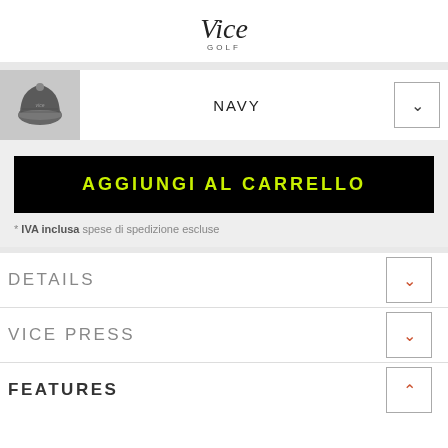[Figure (logo): Vice Golf logo - stylized script 'vice' above 'GOLF' in small caps]
[Figure (photo): Small product thumbnail of a dark navy/grey beanie hat]
NAVY
AGGIUNGI AL CARRELLO
* IVA inclusa spese di spedizione escluse
DETAILS
VICE PRESS
FEATURES